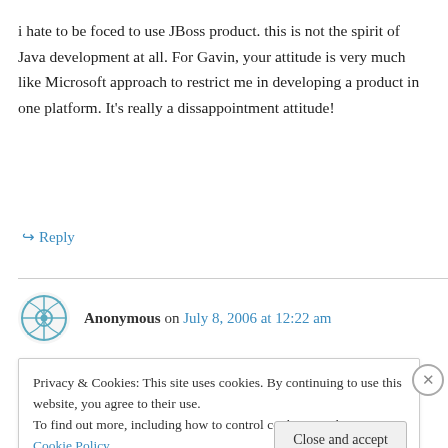i hate to be foced to use JBoss product. this is not the spirit of Java development at all. For Gavin, your attitude is very much like Microsoft approach to restrict me in developing a product in one platform. It's really a dissappointment attitude!
↪ Reply
Anonymous on July 8, 2006 at 12:22 am
Privacy & Cookies: This site uses cookies. By continuing to use this website, you agree to their use.
To find out more, including how to control cookies, see here: Cookie Policy